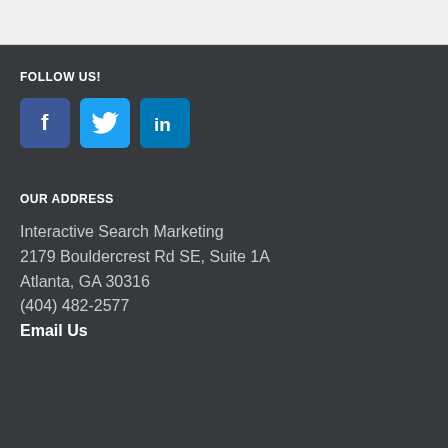FOLLOW US!
[Figure (illustration): Three social media icon buttons: Facebook (dark blue with 'f'), Twitter (light blue with bird icon), LinkedIn (teal-blue with 'in')]
OUR ADDRESS
Interactive Search Marketing
2179 Bouldercrest Rd SE, Suite 1A
Atlanta, GA 30316
(404) 482-2577
Email Us